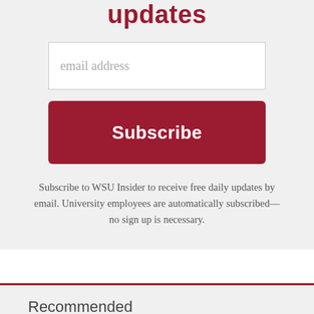updates
email address
Subscribe
Subscribe to WSU Insider to receive free daily updates by email. University employees are automatically subscribed—no sign up is necessary.
Recommended
Features